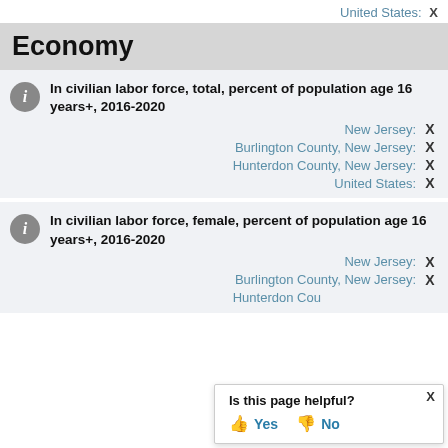United States: X
Economy
In civilian labor force, total, percent of population age 16 years+, 2016-2020
New Jersey: X
Burlington County, New Jersey: X
Hunterdon County, New Jersey: X
United States: X
In civilian labor force, female, percent of population age 16 years+, 2016-2020
New Jersey: X
Burlington County, New Jersey: X
Hunterdon County, New Jersey: X
Is this page helpful? Yes No